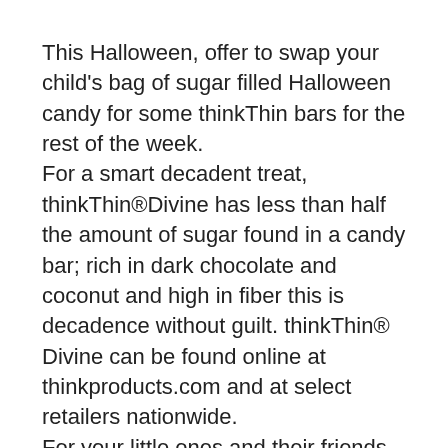This Halloween, offer to swap your child's bag of sugar filled Halloween candy for some thinkThin bars for the rest of the week. For a smart decadent treat, thinkThin®Divine has less than half the amount of sugar found in a candy bar; rich in dark chocolate and coconut and high in fiber this is decadence without guilt. thinkThin® Divine can be found online at thinkproducts.com and at select retailers nationwide. For your little ones and their friends, decorate small zip lock bags and fill with a variety of thinkThin®Crunch bars cut into small pieces. Delicious nuts, chocolate 100%Non GMO ingredients including...